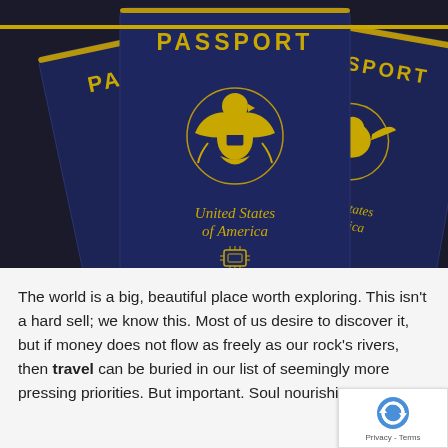[Figure (photo): Three navy blue United States of America passports arranged on a dark surface, with gold embossed eagle seals and text. The center passport shows 'PASSPORT', the eagle emblem, 'United States of America', and a biometric chip symbol. The left and right passports are partially visible showing similar details.]
The world is a big, beautiful place worth exploring. This isn't a hard sell; we know this. Most of us desire to discover it, but if money does not flow as freely as our rock's rivers, then travel can be buried in our list of seemingly more pressing priorities. But important. Soul nourishing, even.